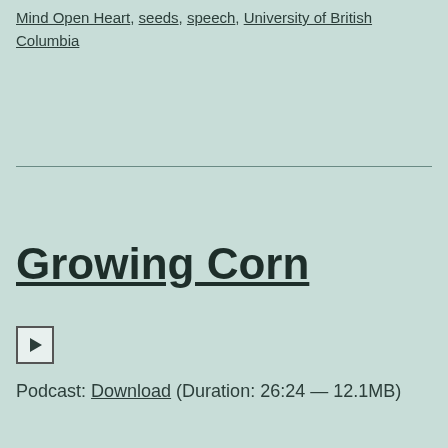Mind Open Heart, seeds, speech, University of British Columbia
Growing Corn
[Figure (other): Play button for audio player]
Podcast: Download (Duration: 26:24 — 12.1MB)